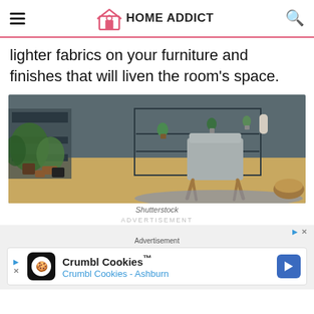HOME ADDICT
lighter fabrics on your furniture and finishes that will liven the room’s space.
[Figure (photo): Interior room scene with potted plants, a mid-century modern grey chair with wooden legs on a blue patterned rug, dark metal shelving with small potted plants, wooden floor, and a wooden bowl on a green side table.]
Shutterstock
ADVERTISEMENT
Advertisement
Crumbl Cookies™ Crumbl Cookies - Ashburn